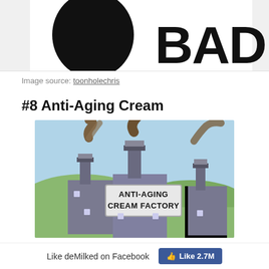[Figure (illustration): Partial comic/cartoon image showing bold black text 'BAD.' with a black oval shape on white background - top portion of an image cut off at top of page]
Image source: toonholechris
#8 Anti-Aging Cream
[Figure (illustration): Cartoon illustration of a factory with smokestacks emitting brown/dark smoke, green hills in background, and a sign reading 'ANTI-AGING CREAM FACTORY' in bold black text]
Like deMilked on Facebook   Like 2.7M